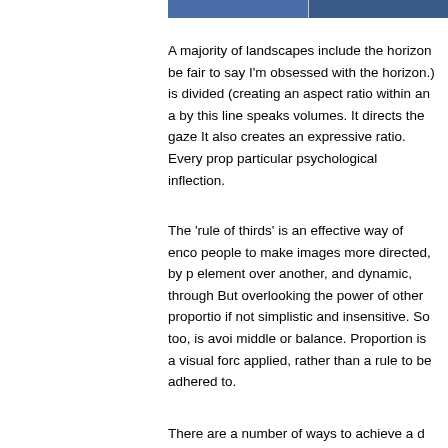[Figure (photo): A landscape photograph showing a horizon line, split into two panels, with blue sky and water or land tones visible at the top of the page.]
A majority of landscapes include the horizon be fair to say I'm obsessed with the horizon.) is divided (creating an aspect ratio within an a by this line speaks volumes. It directs the gaze It also creates an expressive ratio. Every prop particular psychological inflection.
The 'rule of thirds' is an effective way of enco people to make images more directed, by p element over another, and dynamic, through But overlooking the power of other proportio if not simplistic and insensitive. So too, is avoi middle or balance. Proportion is a visual forc applied, rather than a rule to be adhered to.
There are a number of ways to achieve a d